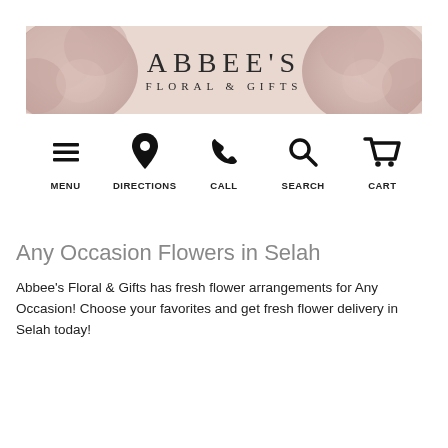[Figure (logo): Abbee's Floral & Gifts banner with floral background and store name]
[Figure (infographic): Navigation icons row: Menu (hamburger), Directions (map pin), Call (phone), Search (magnifying glass), Cart (shopping cart) with labels]
Any Occasion Flowers in Selah
Abbee's Floral & Gifts has fresh flower arrangements for Any Occasion! Choose your favorites and get fresh flower delivery in Selah today!
[Figure (screenshot): Filter button and grid view toggle icons]